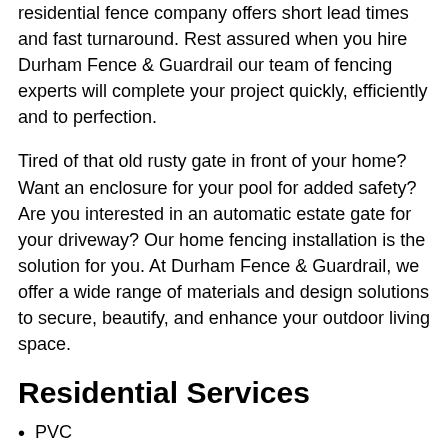residential fence company offers short lead times and fast turnaround. Rest assured when you hire Durham Fence & Guardrail our team of fencing experts will complete your project quickly, efficiently and to perfection.
Tired of that old rusty gate in front of your home? Want an enclosure for your pool for added safety? Are you interested in an automatic estate gate for your driveway? Our home fencing installation is the solution for you. At Durham Fence & Guardrail, we offer a wide range of materials and design solutions to secure, beautify, and enhance your outdoor living space.
Residential Services
PVC
Custom Cedar